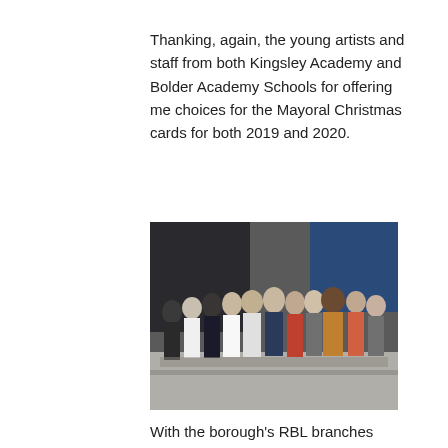Thanking, again, the young artists and staff from both Kingsley Academy and Bolder Academy Schools for offering me choices for the Mayoral Christmas cards for both 2019 and 2020.
[Figure (photo): Group photo of about 14 people standing together in front of a modern building exterior with dark cladding and blue glass. The group includes men and women of various ages dressed in smart casual and formal attire.]
With the borough's RBL branches representatives and Deputy Lieutenant, Mr Paul Kennerley at Hounslow House